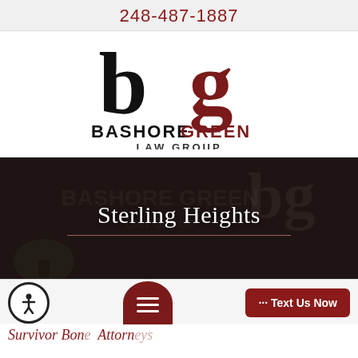248-487-1887
[Figure (logo): Bashore Green Law Group logo with interlocked 'b' and 'g' letterforms in black and dark red, company name below]
[Figure (photo): Hero image showing law firm office interior with Bashore Green Law Group signage, overlaid with text 'Sterling Heights' in white]
Sterling Heights
Survivor Bone Attorneys